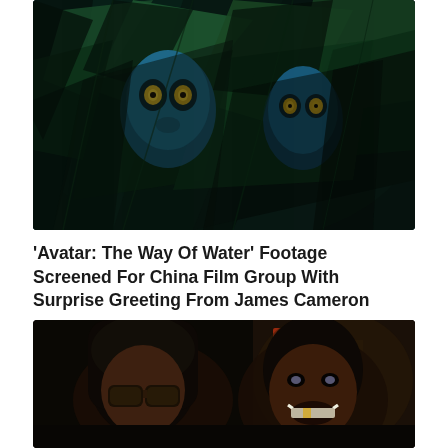[Figure (photo): Movie still from Avatar: The Way of Water showing blue Na'vi characters with glowing eyes peering through dark tropical foliage]
'Avatar: The Way Of Water' Footage Screened For China Film Group With Surprise Greeting From James Cameron
[Figure (photo): Two men posing together at night outdoors, one wearing dark dreadlocks and sunglasses, the other smiling broadly, with illuminated signs visible in the background]